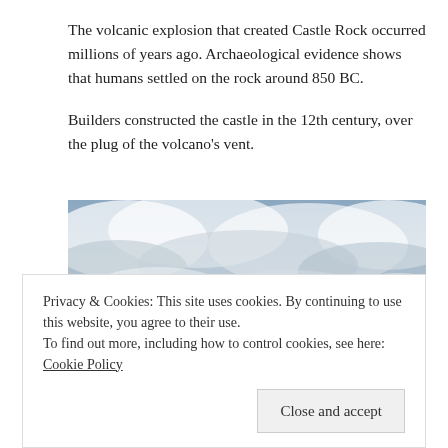The volcanic explosion that created Castle Rock occurred millions of years ago.  Archaeological evidence shows that humans settled on the rock around 850 BC.
Builders constructed the castle in the 12th century, over the plug of the volcano's vent.
[Figure (photo): Photograph of a castle on a rocky hill against a dramatic cloudy sky, with trees visible at the base.]
Privacy & Cookies: This site uses cookies. By continuing to use this website, you agree to their use.
To find out more, including how to control cookies, see here: Cookie Policy